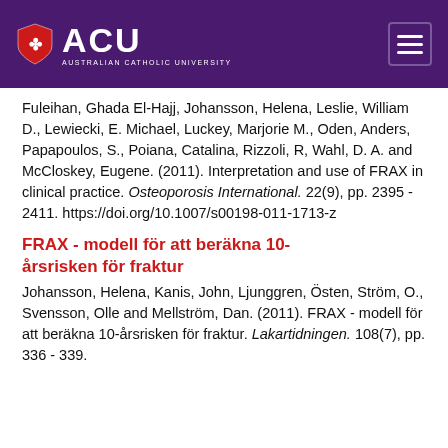ACU - Australian Catholic University
Fuleihan, Ghada El-Hajj, Johansson, Helena, Leslie, William D., Lewiecki, E. Michael, Luckey, Marjorie M., Oden, Anders, Papapoulos, S., Poiana, Catalina, Rizzoli, R, Wahl, D. A. and McCloskey, Eugene. (2011). Interpretation and use of FRAX in clinical practice. Osteoporosis International. 22(9), pp. 2395 - 2411. https://doi.org/10.1007/s00198-011-1713-z
FRAX - modell för att beräkna 10-årsrisken för fraktur
Johansson, Helena, Kanis, John, Ljunggren, Östen, Ström, O., Svensson, Olle and Mellström, Dan. (2011). FRAX - modell för att beräkna 10-årsrisken för fraktur. Lakartidningen. 108(7), pp. 336 - 339.